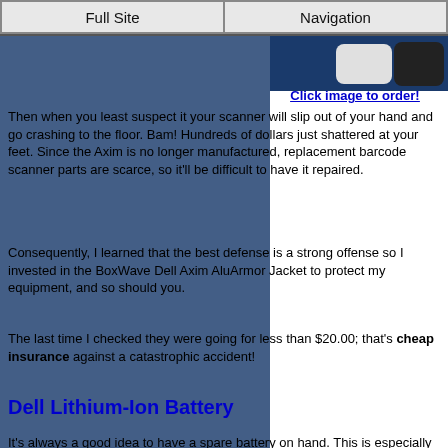Full Site | Navigation
Then when you least suspect it your scanner will slip out of your hand and go crashing to the floor. Bam! Hundreds of dollars just shattered at your feet. Since the Axim is no longer manufactured, replacement barcode scanner parts are scarce, so it'll be difficult to have it repaired.
Consequently, I learned that the best defense is a strong offense so I invested in the BoxWave Dell Axim AluArmor Jacket to protect my equipment, and so should you.
The last time I checked they were going for less than $20.00; that's cheap insurance against a catastrophic accident!
Dell Lithium-Ion Battery
It's always a good idea to have a spare battery on hand. This is especially true for full-time online booksellers who spend six to eight hours a day scouting.
However, part-timers will find spare batteries also come in handy at all day weekend book sales. I once ran out of battery juice at the famed VNSA booksale in Phoenix, AZ where I was competing against several hundred other sellers for books.
Luckily, I had my wall charger with me, and